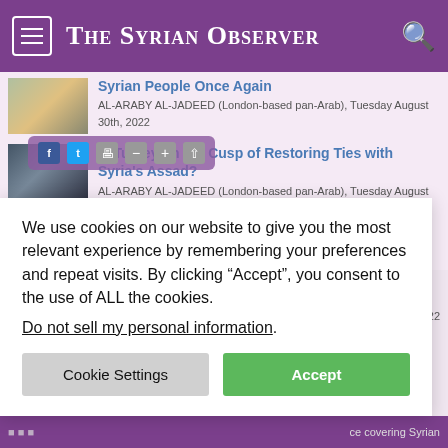The Syrian Observer
Syrian People Once Again
AL-ARABY AL-JADEED (London-based pan-Arab), Tuesday August 30th, 2022
Is Turkey on the Cusp of Restoring Ties with Syria's Assad?
AL-ARABY AL-JADEED (London-based pan-Arab), Tuesday August 23rd, 2022
Assad's Orphans in Aleppo
July 13th, 2022
of Syrians will
We use cookies on our website to give you the most relevant experience by remembering your preferences and repeat visits. By clicking “Accept”, you consent to the use of ALL the cookies.
Do not sell my personal information.
Cookie Settings
Accept
ce covering Syrian